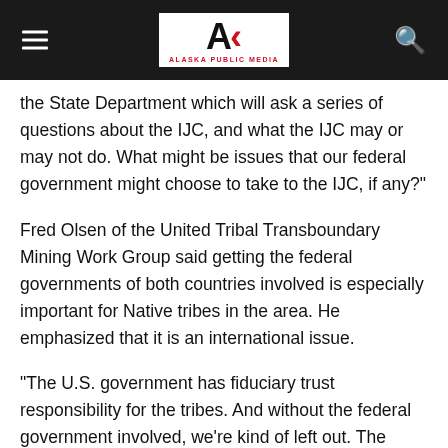Alaska Public Media
the State Department which will ask a series of questions about the IJC, and what the IJC may or may not do. What might be issues that our federal government might choose to take to the IJC, if any?"
Fred Olsen of the United Tribal Transboundary Mining Work Group said getting the federal governments of both countries involved is especially important for Native tribes in the area. He emphasized that it is an international issue.
“The U.S. government has fiduciary trust responsibility for the tribes. And without the federal government involved, we’re kind of left out. The tribes are on the outside looking in,” Olsen said. “This Statement of Cooperation talks about enhanced participation by tribes, and I’m not sure what that